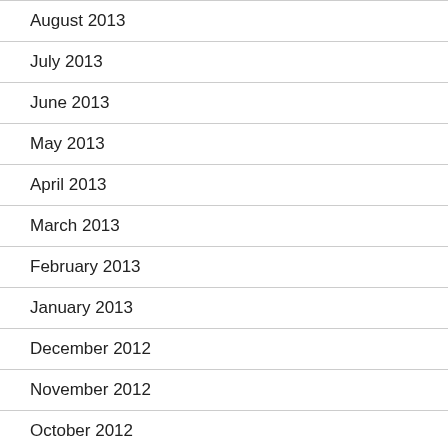August 2013
July 2013
June 2013
May 2013
April 2013
March 2013
February 2013
January 2013
December 2012
November 2012
October 2012